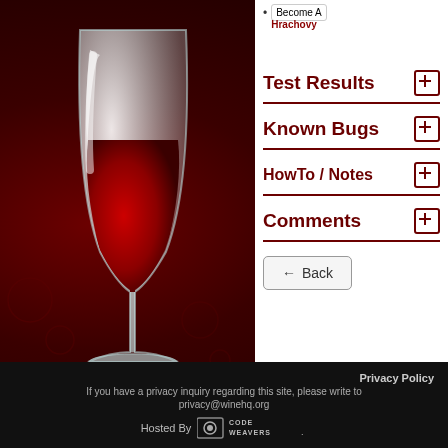[Figure (illustration): Dark red/maroon background with Wine glass logo (white frosted glass with red wine) on the left side, decorative circular patterns in background]
Become A... Hrachovy
Test Results ⊞
Known Bugs ⊞
HowTo / Notes ⊞
Comments ⊞
← Back
Privacy Policy
If you have a privacy inquiry regarding this site, please write to privacy@winehq.org
Hosted By CodeWeavers.